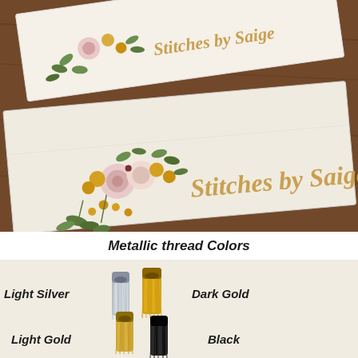[Figure (photo): Photo of two white fabric pieces with embroidered floral designs and the text 'Stitches by Saige' in gold lettering, placed on a wooden surface.]
Metallic thread Colors
[Figure (photo): Photo of four metallic thread tassels showing Light Silver, Dark Gold, Light Gold, and Black thread colors.]
Light Silver
Dark Gold
Light Gold
Black